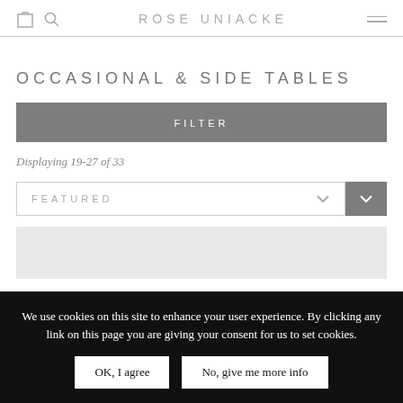ROSE UNIACKE
OCCASIONAL & SIDE TABLES
FILTER
Displaying 19-27 of 33
FEATURED
[Figure (screenshot): Light grey product image placeholder area]
We use cookies on this site to enhance your user experience. By clicking any link on this page you are giving your consent for us to set cookies.
OK, I agree
No, give me more info